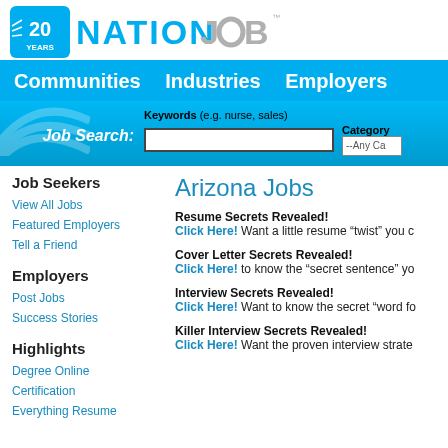[Figure (logo): NationJob 20 Years logo with blue icon and gray/blue text]
Communities  Industries  Employers
Job Search: Keywords (e.g. nurse, sales) Category --Any Ca...
Job Seekers
View All Jobs
Featured Employers
Tell a Friend
Employers
Post Jobs
Success Stories
Highlights
Degree Online
Certification
Everything Resume
Arizona Jobs
Resume Secrets Revealed!
Click Here!  Want a little resume “twist” you c...
Cover Letter Secrets Revealed!
Click Here!  to know the “secret sentence” yo...
Interview Secrets Revealed!
Click Here!  Want to know the secret “word fo...
Killer Interview Secrets Revealed!
Click Here!  Want the proven interview strate...